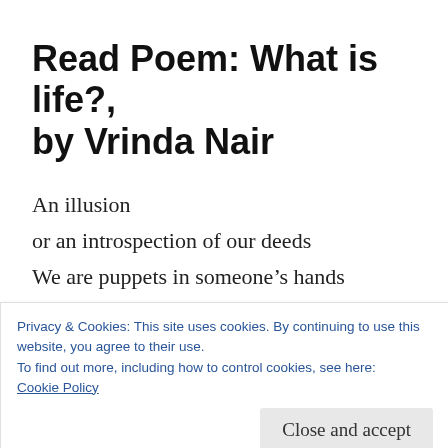Read Poem: What is life?, by Vrinda Nair
An illusion
or an introspection of our deeds
We are puppets in someone’s hands
Starting with aught and
ending with griefs
Restless souls, brooding over past
Privacy & Cookies: This site uses cookies. By continuing to use this website, you agree to their use.
To find out more, including how to control cookies, see here:
Cookie Policy
Close and accept
That was the mission